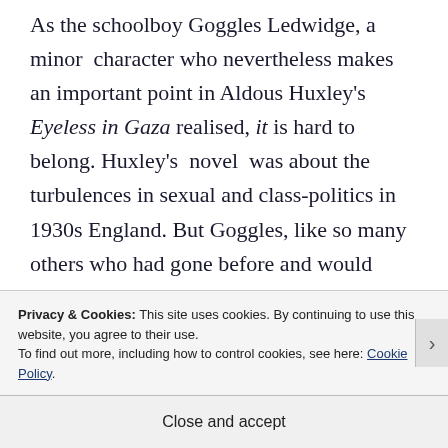As the schoolboy Goggles Ledwidge, a minor character who nevertheless makes an important point in Aldous Huxley's Eyeless in Gaza realised, it is hard to belong. Huxley's novel was about the turbulences in sexual and class-politics in 1930s England. But Goggles, like so many others who had gone before and would come after,
Privacy & Cookies: This site uses cookies. By continuing to use this website, you agree to their use. To find out more, including how to control cookies, see here: Cookie Policy
Close and accept